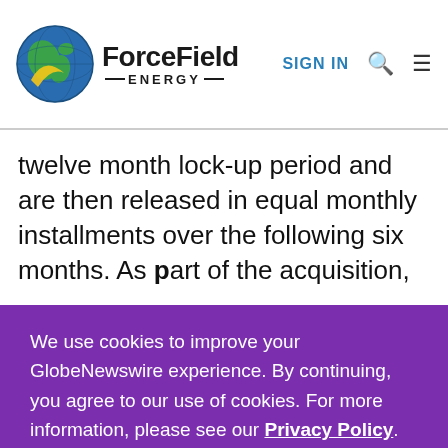ForceField Energy | SIGN IN
twelve month lock-up period and are then released in equal monthly installments over the following six months. As part of the acquisition,
We use cookies to improve your GlobeNewswire experience. By continuing, you agree to our use of cookies. For more information, please see our Privacy Policy.
ACCEPT